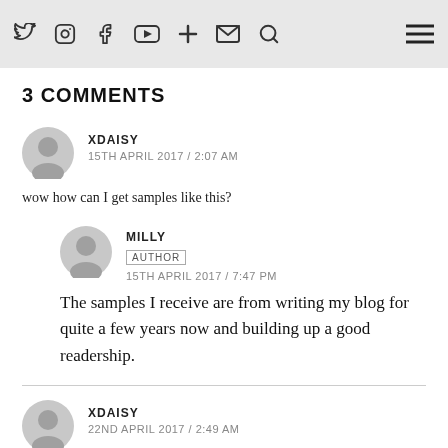Navigation bar with social icons: Twitter, Instagram, Facebook, YouTube, Plus, Mail, Search, and hamburger menu
3 COMMENTS
XDAISY
15TH APRIL 2017 / 2:07 AM
wow how can I get samples like this?
MILLY
AUTHOR
15TH APRIL 2017 / 7:47 PM
The samples I receive are from writing my blog for quite a few years now and building up a good readership.
XDAISY
22ND APRIL 2017 / 2:49 AM